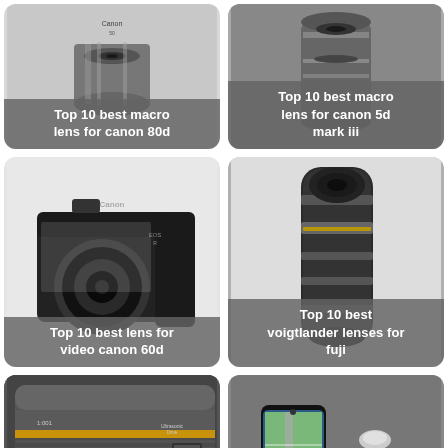[Figure (photo): Camera lens from above on gray background with label: Top 10 best macro lens for canon 80d]
[Figure (photo): Camera lens on gray background with label: Top 10 best macro lens for canon 5d mark iii]
[Figure (photo): Canon EOS R mirrorless camera on white background with label: Top 10 best lens for video canon 60d]
[Figure (photo): Black zoom lens on white background with label: Top 10 best voigtlander lenses for fuji]
[Figure (photo): Tamron zoom lens close-up on dark background with label: Top 10 best nikon full frame lenses]
[Figure (photo): Smartphone with map app and dash camera device with label: Top 10 best wicked dash camera]